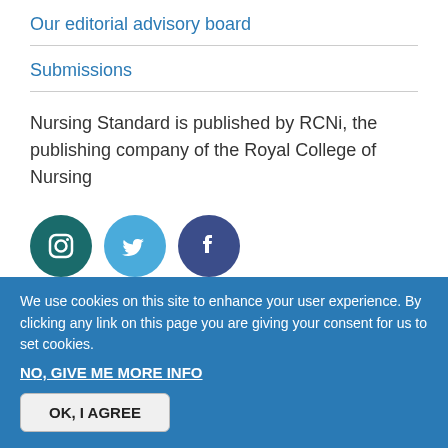Our editorial advisory board
Submissions
Nursing Standard is published by RCNi, the publishing company of the Royal College of Nursing
[Figure (illustration): Three social media icons: Instagram (dark teal circle), Twitter (light blue circle), Facebook (dark blue circle)]
We use cookies on this site to enhance your user experience. By clicking any link on this page you are giving your consent for us to set cookies.
NO, GIVE ME MORE INFO
OK, I AGREE